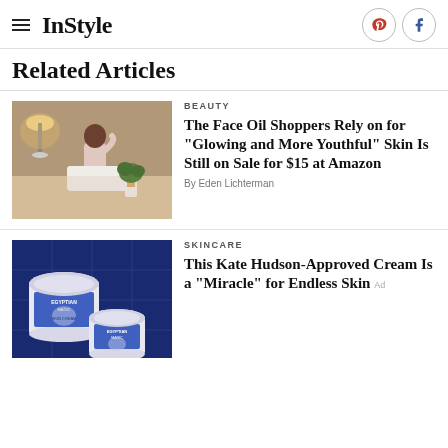InStyle
Related Articles
BEAUTY
The Face Oil Shoppers Rely on for "Glowing and More Youthful" Skin Is Still on Sale for $15 at Amazon
By Eden Lichterman
SKINCARE
This Kate Hudson-Approved Cream Is a "Miracle" for Endless Skin